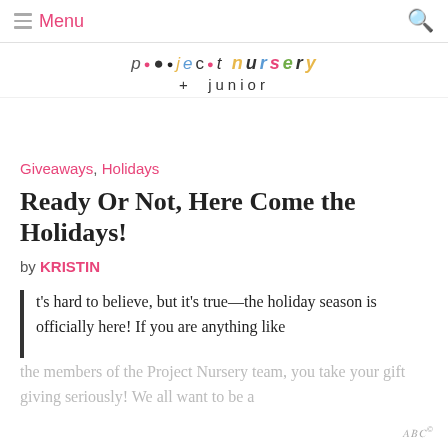Menu
[Figure (logo): Project Nursery + junior logo with decorative colored letters and ornament dots]
Giveaways, Holidays
Ready Or Not, Here Come the Holidays!
by KRISTIN
It's hard to believe, but it's true—the holiday season is officially here! If you are anything like the members of the Project Nursery team, you take your gift giving seriously! We all want to be a